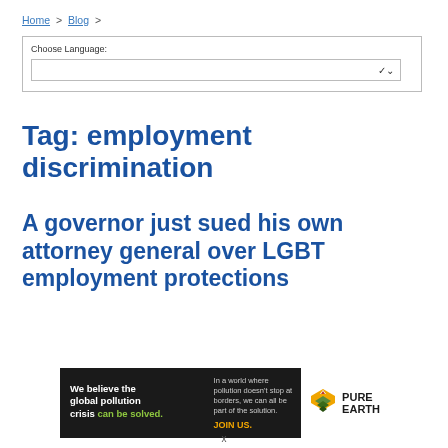Home > Blog >
Choose Language:
Tag: employment discrimination
A governor just sued his own attorney general over LGBT employment protections
[Figure (other): Pure Earth advertisement banner: 'We believe the global pollution crisis can be solved. In a world where pollution doesn't stop at borders, we can all be part of the solution. JOIN US. PURE EARTH']
x